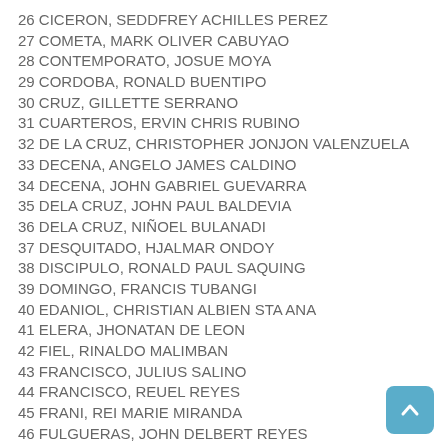26 CICERON, SEDDFREY ACHILLES PEREZ
27 COMETA, MARK OLIVER CABUYAO
28 CONTEMPORATO, JOSUE MOYA
29 CORDOBA, RONALD BUENTIPO
30 CRUZ, GILLETTE SERRANO
31 CUARTEROS, ERVIN CHRIS RUBINO
32 DE LA CRUZ, CHRISTOPHER JONJON VALENZUELA
33 DECENA, ANGELO JAMES CALDINO
34 DECENA, JOHN GABRIEL GUEVARRA
35 DELA CRUZ, JOHN PAUL BALDEVIA
36 DELA CRUZ, NIÑOEL BULANADI
37 DESQUITADO, HJALMAR ONDOY
38 DISCIPULO, RONALD PAUL SAQUING
39 DOMINGO, FRANCIS TUBANGI
40 EDANIOL, CHRISTIAN ALBIEN STA ANA
41 ELERA, JHONATAN DE LEON
42 FIEL, RINALDO MALIMBAN
43 FRANCISCO, JULIUS SALINO
44 FRANCISCO, REUEL REYES
45 FRANI, REI MARIE MIRANDA
46 FULGUERAS, JOHN DELBERT REYES